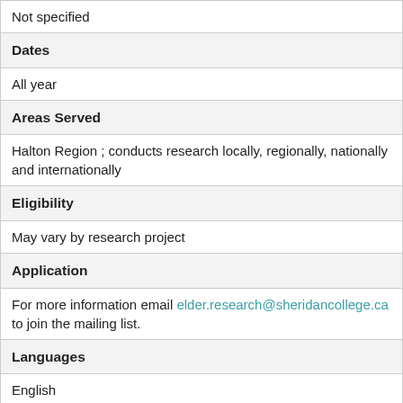| Not specified |
| Dates |
| All year |
| Areas Served |
| Halton Region ; conducts research locally, regionally, nationally and internationally |
| Eligibility |
| May vary by research project |
| Application |
| For more information email elder.research@sheridancollege.ca to join the mailing list. |
| Languages |
| English |
| Fees |
| None ; Parking fee |
| Site Information |
| Located In Community |
| Oakville |